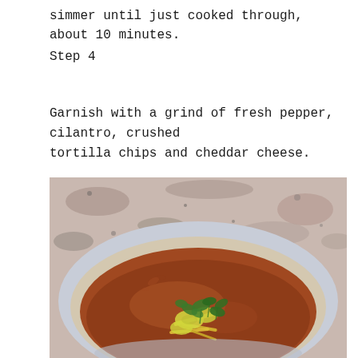simmer until just cooked through, about 10 minutes.
Step 4
Garnish with a grind of fresh pepper, cilantro, crushed tortilla chips and cheddar cheese.
[Figure (photo): A bowl of soup garnished with cilantro, avocado, shredded cheese, and tortilla chips, served on a granite countertop.]